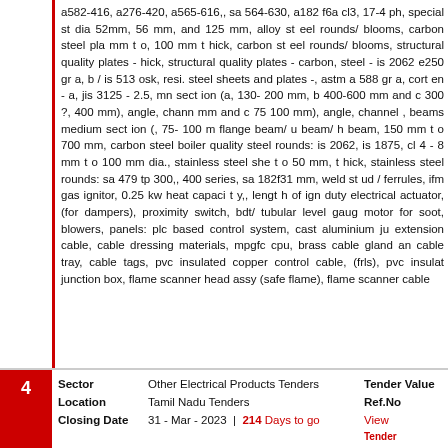a582-416, a276-420, a565-616,, sa 564-630, a182 f6a cl3, 17-4 ph, special st dia 52mm, 56 mm, and 125 mm, alloy st eel rounds/ blooms, carbon steel pla mm t o, 100 mm t hick, carbon st eel rounds/ blooms, structural quality plates - hick, structural quality plates - carbon, steel - is 2062 e250 gr a, b / is 513 osk, resi. steel sheets and plates -, astm a 588 gr a, cort en - a, jis 3125 - 2.5, mn sect ion (a, 130- 200 mm, b 400-600 mm and c 300 ?, 400 mm), angle, chann mm and c 75 100 mm), angle, channel , beams medium sect ion (, 75- 100 m flange beam/ u beam/ h beam, 150 mm t o 700 mm, carbon steel boiler quality steel rounds: is 2062, is 1875, cl 4 - 8 mm t o 100 mm dia., stainless steel she t o 50 mm, t hick, stainless steel rounds: sa 479 tp 300,, 400 series, sa 182f31 mm, weld st ud / ferrules, ifm gas ignitor, 0.25 kw heat capaci t y,, lengt h of ign duty electrical actuator, (for dampers), proximity switch, bdt/ tubular level gaug motor for soot, blowers, panels: plc based control system, cast aluminium ju extension cable, cable dressing materials, mpgfc cpu, brass cable gland an cable tray, cable tags, pvc insulated copper control cable, (frls), pvc insulat junction box, flame scanner head assy (safe flame), flame scanner cable
|  | Sector | Value | Tender Value | Location | Ref.No | Closing Date |
| --- | --- | --- | --- | --- | --- | --- |
| 4 | Other Electrical Products Tenders |  |  | Tamil Nadu Tenders |  | 31 - Mar - 2023 | 214 Days to go |
Supply of various items listed in bhel, scanner system, electronic modules electronic modules for electronic, water level indicator (ewli), pressure switch indicators, fluegas analyzers (dilution probe), flue gas analyzers, smoke den analyzers; oxygen, measurement at boiler eco, inlet, fluegas analyzers; sox